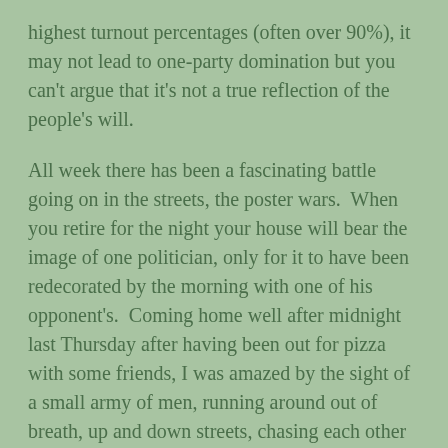highest turnout percentages (often over 90%), it may not lead to one-party domination but you can't argue that it's not a true reflection of the people's will.

All week there has been a fascinating battle going on in the streets, the poster wars.  When you retire for the night your house will bear the image of one politician, only for it to have been redecorated by the morning with one of his opponent's.  Coming home well after midnight last Thursday after having been out for pizza with some friends, I was amazed by the sight of a small army of men, running around out of breath, up and down streets, chasing each other with step ladders.  No sooner had one climbed down from plastering a poster on the side of anything that doesn't move and gone to the next street, than another would sneak out from the shadows and overlay it with two more.  As there seems to be at least a dozen different parties and fifty or so candidates for each district you can understand that the step-ladder business